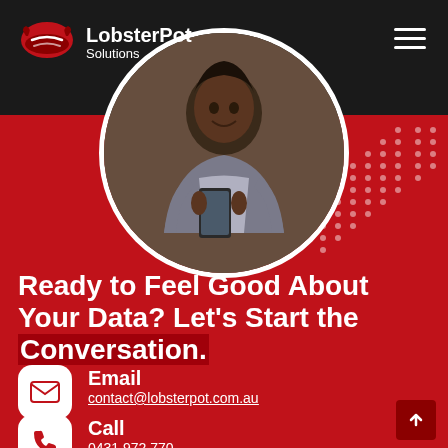[Figure (logo): LobsterPot Solutions logo with red lobster icon and white text]
[Figure (photo): Circular photo of a woman looking at a smartphone]
Ready to Feel Good About Your Data? Let's Start the Conversation.
Email
contact@lobsterpot.com.au
Call
0431 972 770